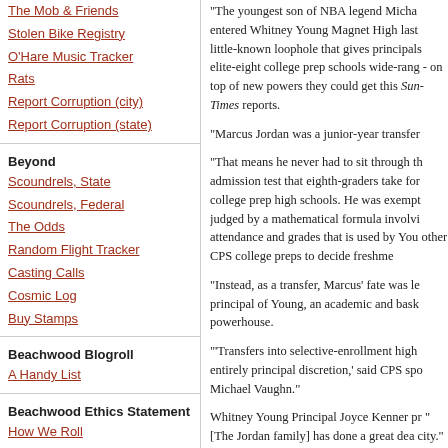The Mob & Friends
Stolen Bike Registry
O'Hare Music Tracker
Rats
Report Corruption (city)
Report Corruption (state)
Beyond
Scoundrels, State
Scoundrels, Federal
The Odds
Random Flight Tracker
Casting Calls
Cosmic Log
Buy Stamps
Beachwood Blogroll
A Handy List
Beachwood Ethics Statement
How We Roll
"The youngest son of NBA legend Michael entered Whitney Young Magnet High last little-known loophole that gives principals elite-eight college prep schools wide-rang - on top of new powers they could get this Sun-Times reports.
"Marcus Jordan was a junior-year transfer
"That means he never had to sit through the admission test that eighth-graders take for college prep high schools. He was exempt judged by a mathematical formula involvi attendance and grades that is used by You other CPS college preps to decide freshme
"Instead, as a transfer, Marcus' fate was le principal of Young, an academic and bask powerhouse.
"'Transfers into selective-enrollment high entirely principal discretion,' said CPS spo Michael Vaughn."
Whitney Young Principal Joyce Kenner pr "[The Jordan family] has done a great dea city."
And this city has done a great deal for the made him rich and famous; rich and famo fact, to clout his kid into a magnet school.